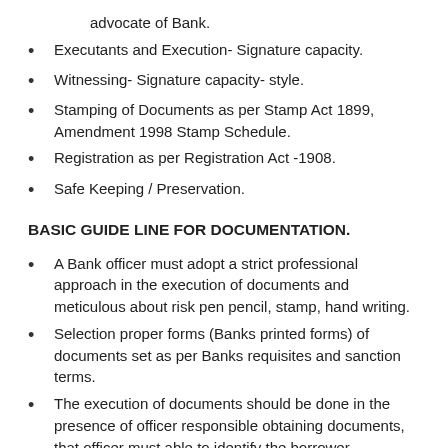advocate of Bank.
Executants and Execution- Signature capacity.
Witnessing- Signature capacity- style.
Stamping of Documents as per Stamp Act 1899, Amendment 1998 Stamp Schedule.
Registration as per Registration Act -1908.
Safe Keeping / Preservation.
BASIC GUIDE LINE FOR DOCUMENTATION.
A Bank officer must adopt a strict professional approach in the execution of documents and meticulous about risk pen pencil, stamp, hand writing.
Selection proper forms (Banks printed forms) of documents set as per Banks requisites and sanction terms.
The execution of documents should be done in the presence of officer responsible obtaining documents, that officer must able to identify the borrower.